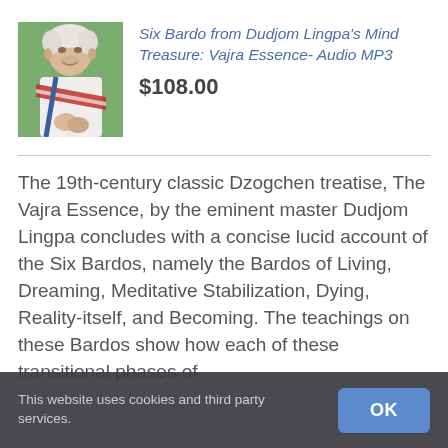[Figure (photo): Photo of an older man with white/grey hair wearing a white shirt and red and white striped shawl/sash, with blue strap visible, outdoors with green background]
Six Bardo from Dudjom Lingpa's Mind Treasure: Vajra Essence- Audio MP3
$108.00
The 19th-century classic Dzogchen treatise, The Vajra Essence, by the eminent master Dudjom Lingpa concludes with a concise lucid account of the Six Bardos, namely the Bardos of Living, Dreaming, Meditative Stabilization, Dying, Reality-itself, and Becoming. The teachings on these Bardos show how each of these transitional phases of
This website uses cookies and third party services.
OK